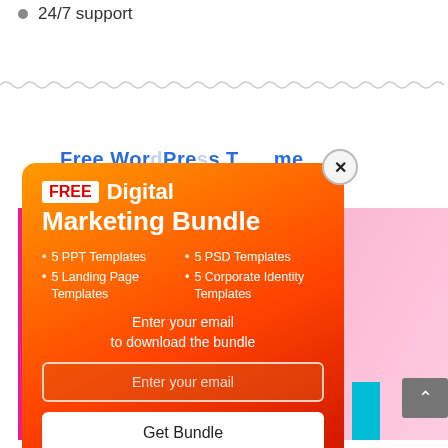24/7 support
[Figure (screenshot): A webpage screenshot showing a modal popup for a Free Digital Marketing Bundle offer over a pink background with a woman with braided hair. The popup has an orange-red gradient background with a FREE badge, title 'Digital Marketing Bundle', feature list, email input field, and 'Get Bundle' button. A blue heading 'Free WordPress Theme' is partially visible behind the popup. There is also a close (X) button on the popup.]